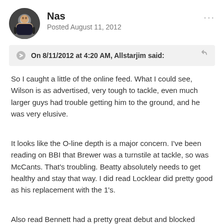Nas
Posted August 11, 2012
On 8/11/2012 at 4:20 AM, Allstarjim said:
So I caught a little of the online feed. What I could see, Wilson is as advertised, very tough to tackle, even much larger guys had trouble getting him to the ground, and he was very elusive.
It looks like the O-line depth is a major concern. I've been reading on BBI that Brewer was a turnstile at tackle, so was McCants. That's troubling. Beatty absolutely needs to get healthy and stay that way. I did read Locklear did pretty good as his replacement with the 1's.
Also read Bennett had a pretty great debut and blocked